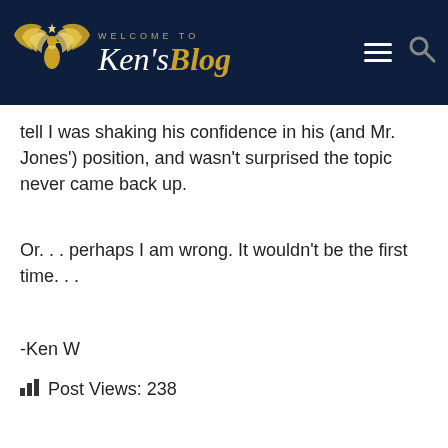[Figure (logo): Ken's Blog logo with golden swan/phoenix wings and 'WELCOME TO Ken'sBlog' text on dark navy background with hamburger menu and search icon]
tell I was shaking his confidence in his (and Mr. Jones') position, and wasn't surprised the topic never came back up.
Or. . . perhaps I am wrong. It wouldn't be the first time. . .
-Ken W
Post Views: 238